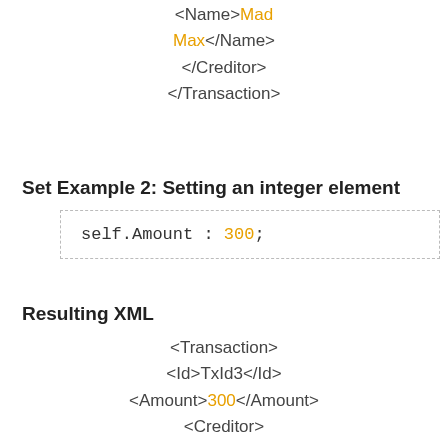<Name>Mad Max</Name>
</Creditor>
</Transaction>
Set Example 2: Setting an integer element
self.Amount : 300;
Resulting XML
<Transaction>
<Id>TxId3</Id>
<Amount>300</Amount>
<Creditor>

<Name>Creditor3</Name>
</Creditor>